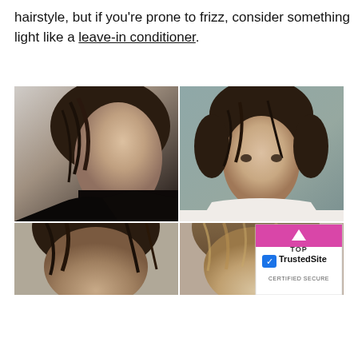hairstyle, but if you're prone to frizz, consider something light like a leave-in conditioner.
[Figure (photo): A 2x2 grid of photos showing young men with medium-length shaggy/wavy hairstyles. Top-left: side profile of young man with dark wavy hair wearing a black jacket. Top-right: front-facing young man with dark wavy hair wearing a white shirt against a gray-green background. Bottom-left and bottom-right: partial head shots showing men with dark and lighter wavy hair respectively.]